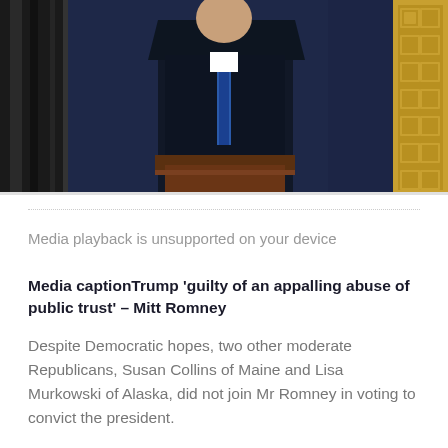[Figure (photo): A man in a dark suit standing at a podium, with decorative columns visible in the background including a gold/yellow patterned column on the right side.]
Media playback is unsupported on your device
Media captionTrump 'guilty of an appalling abuse of public trust' – Mitt Romney
Despite Democratic hopes, two other moderate Republicans, Susan Collins of Maine and Lisa Murkowski of Alaska, did not join Mr Romney in voting to convict the president.
Some Republican senators criticised Mr Trump's behaviour in recent days, but said it did not rise to the level of impeachment.